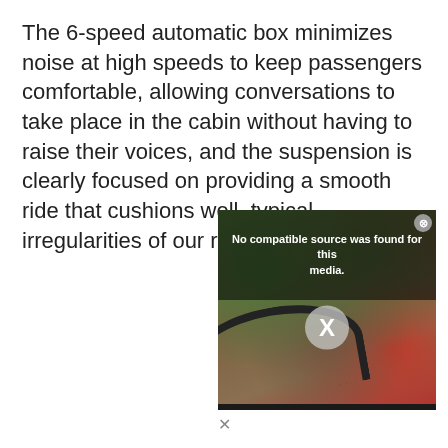The 6-speed automatic box minimizes noise at high speeds to keep passengers comfortable, allowing conversations to take place in the cabin without having to raise their voices, and the suspension is clearly focused on providing a smooth ride that cushions well, typical irregularities of our roads.
[Figure (screenshot): Embedded video player showing an error message 'No compatible source was found for this media.' overlaid on a blurry outdoor scene with a bicycle and red object. An X dismiss button is visible in the center and a close button in the top-right corner.]